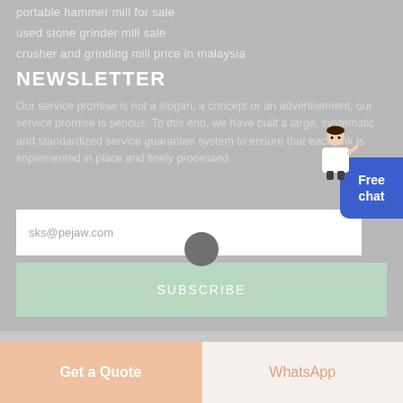portable hammer mill for sale
used stone grinder mill sale
crusher and grinding mill price in malaysia
NEWSLETTER
Our service promise is not a slogan, a concept or an advertisement, our service promise is serious. To this end, we have built a large, systematic and standardized service guarantee system to ensure that each link is implemented in place and finely processed.
sks@pejaw.com
SUBSCRIBE
Get a Quote
WhatsApp